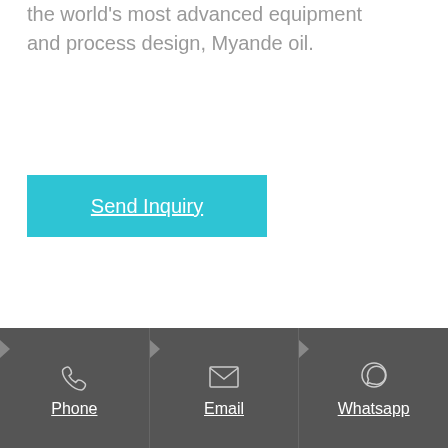the world's most advanced equipment and process design, Myande oil.
Send Inquiry
[Figure (other): Footer bar with three contact options: Phone, Email, Whatsapp, each with icon and underlined label on dark gray background]
Phone
Email
Whatsapp